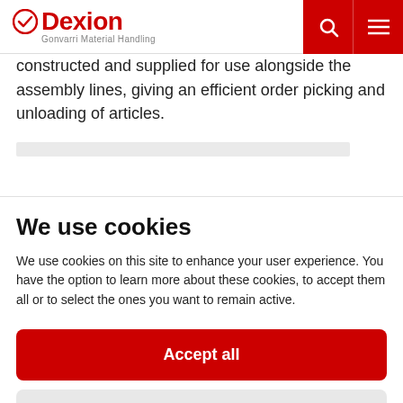Dexion — Gonvarri Material Handling
constructed and supplied for use alongside the assembly lines, giving an efficient order picking and unloading of articles.
We use cookies
We use cookies on this site to enhance your user experience. You have the option to learn more about these cookies, to accept them all or to select the ones you want to remain active.
Accept all
Settings